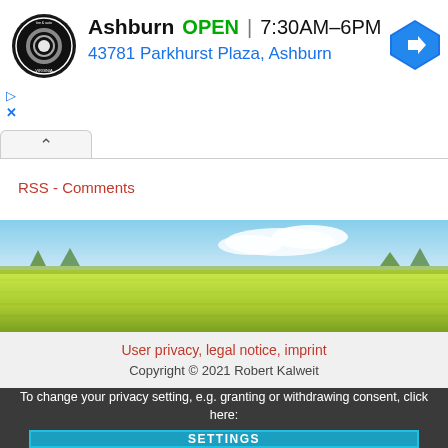[Figure (logo): Virginia Tire & Auto circular logo with black background]
Ashburn   OPEN | 7:30AM–6PM
43781 Parkhurst Plaza, Ashburn
[Figure (illustration): Blue diamond navigation/directions icon with white right-turn arrow]
▷
✕
∧
RSS - Comments
[Figure (photo): Landscape photo of green/yellow field under blue sky]
User privacy, legal notice, imprint
Copyright © 2021 Robert Kalweit
To change your privacy setting, e.g. granting or withdrawing consent, click here:
SETTINGS